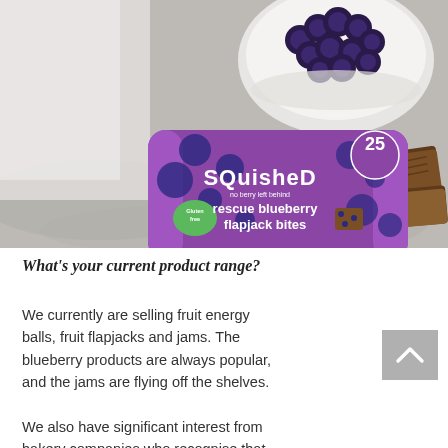[Figure (photo): Product photo showing a purple Squished 'rescue blueberry flapjack bites' snack pack on a grey stone surface, with a white bowl of blueberries in the background and pieces of flapjack bar to the right.]
What's your current product range?
We currently are selling fruit energy balls, fruit flapjacks and jams. The blueberry products are always popular, and the jams are flying off the shelves.
We also have significant interest from bakery companies who recognise that